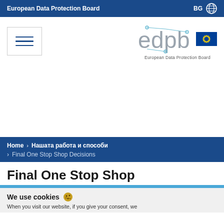European Data Protection Board | BG
[Figure (logo): Hamburger menu icon (three horizontal lines in a bordered box)]
[Figure (logo): EDPB logo with EU flag and text 'European Data Protection Board']
Home > Нашата работа и способи > Final One Stop Shop Decisions
Final One Stop Shop
We use cookies 🍪
When you visit our website, if you give your consent, we